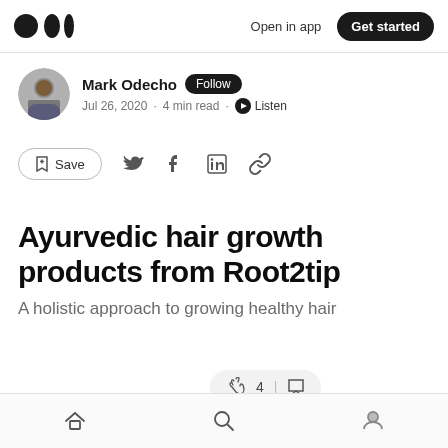Medium logo | Open in app | Get started
Mark Odecho · Follow · Jul 26, 2020 · 4 min read · Listen
Save (social share icons)
Ayurvedic hair growth products from Root2tip
A holistic approach to growing healthy hair
Home | Search | Profile